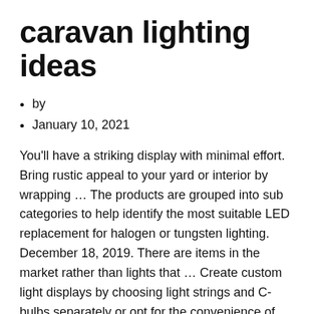caravan lighting ideas
by
January 10, 2021
You'll have a striking display with minimal effort. Bring rustic appeal to your yard or interior by wrapping … The products are grouped into sub categories to help identify the most suitable LED replacement for halogen or tungsten lighting. December 18, 2019. There are items in the market rather than lights that … Create custom light displays by choosing light strings and C- bulbs separately or opt for the convenience of hardwired C7 & C9 light sets. Warm colors give a flattering soft glow to a room, while cool colors can help conjure up a mood for themed occasions. Link to